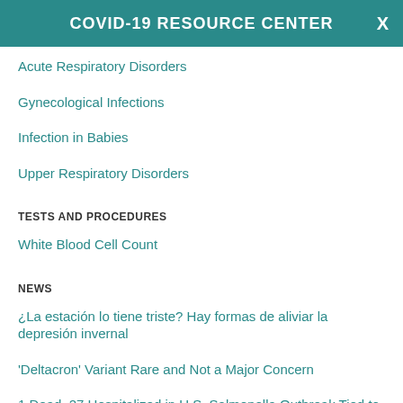COVID-19 RESOURCE CENTER
Acute Respiratory Disorders
Gynecological Infections
Infection in Babies
Upper Respiratory Disorders
TESTS AND PROCEDURES
White Blood Cell Count
NEWS
¿La estación lo tiene triste? Hay formas de aliviar la depresión invernal
'Deltacron' Variant Rare and Not a Major Concern
1 Dead, 27 Hospitalized in U.S. Salmonella Outbreak Tied to Poultry
1 Dirty Pool, Many Cases of E. Coli: Summer's Swimming